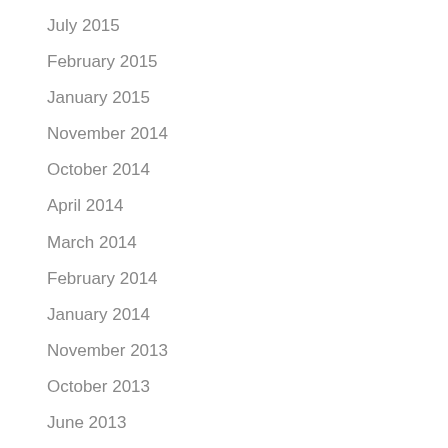July 2015
February 2015
January 2015
November 2014
October 2014
April 2014
March 2014
February 2014
January 2014
November 2013
October 2013
June 2013
May 2013
April 2013
January 2013